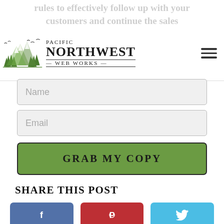rules to effectively follow up with your customers and continue the sales conversation.
[Figure (logo): Pacific Northwest Web Works logo with mountain and trees illustration]
Name
Email
GRAB MY COPY
SHARE THIS POST
[Figure (illustration): Facebook share button (blue rounded rectangle with Facebook icon)]
[Figure (illustration): Pinterest share button (red rounded rectangle with Pinterest icon)]
[Figure (illustration): Twitter share button (light blue rounded rectangle with Twitter bird icon)]